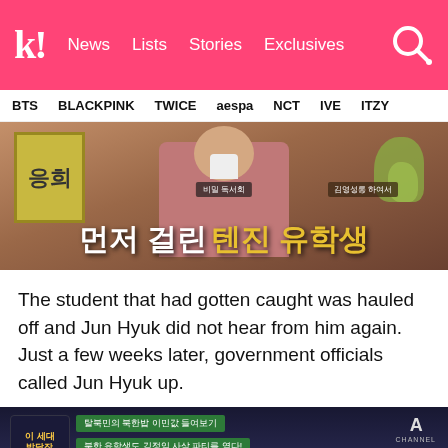Koreaboo — News  Lists  Stories  Exclusives
BTS  BLACKPINK  TWICE  aespa  NCT  IVE  ITZY
[Figure (screenshot): TV show screenshot with Korean text overlay reading '먼저 걸린 텐진 유학생' (The Tianjin student who got caught first), person in pink/mauve sweater visible, sign on left, plant on right]
The student that had gotten caught was hauled off and Jun Hyuk did not hear from him again. Just a few weeks later, government officials called Jun Hyuk up.
[Figure (screenshot): TV show screenshot with Korean text badges on dark background with Channel A logo, showing Korean subtitles about North Korean defector stories]